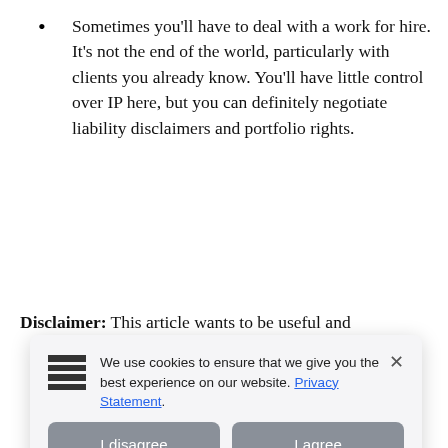Sometimes you'll have to deal with a work for hire. It's not the end of the world, particularly with clients you already know. You'll have little control over IP here, but you can definitely negotiate liability disclaimers and portfolio rights.
Disclaimer: This article wants to be useful and [obscured] legal [obscured] d are only [obscured] nor, [obscured] authors [obscured] bility [obscured] without a
[Figure (screenshot): Cookie consent popup overlay with hamburger/list icon on left, message reading 'We use cookies to ensure that we give you the best experience on our website. Privacy Statement.' with a close X button, and two buttons: 'I disagree' and 'I agree']